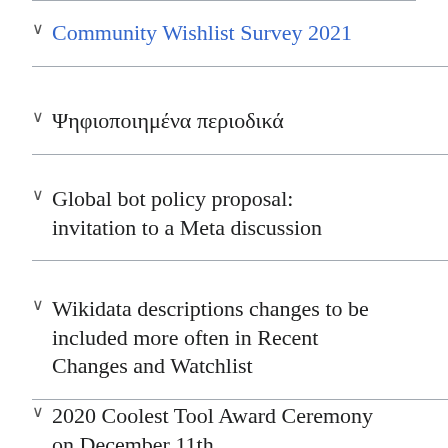Community Wishlist Survey 2021
Ψηφιοποιημένα περιοδικά
Global bot policy proposal: invitation to a Meta discussion
Wikidata descriptions changes to be included more often in Recent Changes and Watchlist
2020 Coolest Tool Award Ceremony on December 11th